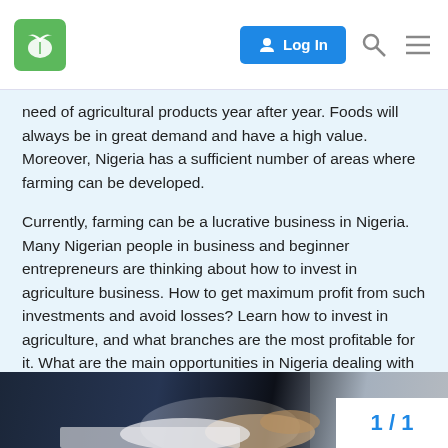Log In
need of agricultural products year after year. Foods will always be in great demand and have a high value. Moreover, Nigeria has a sufficient number of areas where farming can be developed.
Currently, farming can be a lucrative business in Nigeria. Many Nigerian people in business and beginner entrepreneurs are thinking about how to invest in agriculture business. How to get maximum profit from such investments and avoid losses? Learn how to invest in agriculture, and what branches are the most profitable for it. What are the main opportunities in Nigeria dealing with farming?
[Figure (photo): Close-up photo of a businessman in a dark suit with hands on a desk, appearing to sign or review documents.]
1 / 1